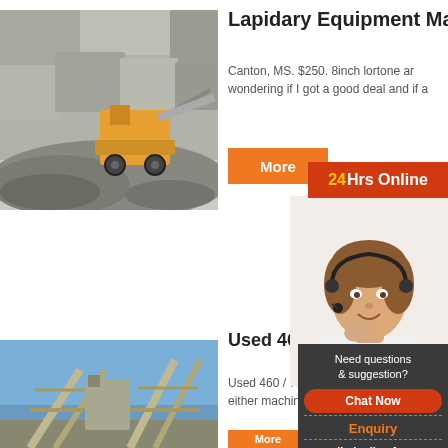[Figure (photo): Mining/quarry site with heavy machinery, rock crusher or mobile processing equipment, grey rock walls visible]
Lapidary Equipment Ma
Canton, MS. $250. 8inch lortone ar wondering if I got a good deal and if a
More
24Hrs Online
[Figure (photo): Customer service representative woman wearing headset, smiling]
Need questions & suggestion?
Chat Now
Enquiry
limingjlmofen
Used 460... al
Used 460 / 70... us either machine... se
[Figure (photo): Industrial machinery / conveyor structure against blue sky]